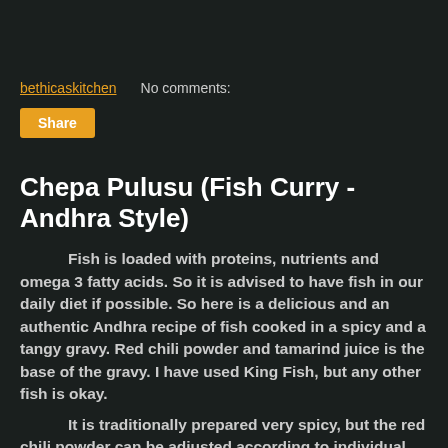bethicaskitchen    No comments:
Share
Chepa Pulusu (Fish Curry - Andhra Style)
Fish is loaded with proteins, nutrients and omega 3 fatty acids. So it is advised to have fish in our daily diet if possible. So here is a delicious and an authentic Andhra recipe of fish cooked in a spicy and a tangy gravy. Red chili powder and tamarind juice is the base of the gravy. I have used King Fish, but any other fish is okay.
It is traditionally prepared very spicy, but the red chili powder can be adjusted according to individual